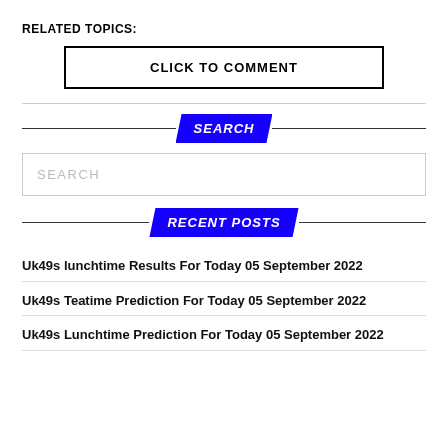RELATED TOPICS:
CLICK TO COMMENT
SEARCH
SEARCH
RECENT POSTS
Uk49s lunchtime Results For Today 05 September 2022
Uk49s Teatime Prediction For Today 05 September 2022
Uk49s Lunchtime Prediction For Today 05 September 2022